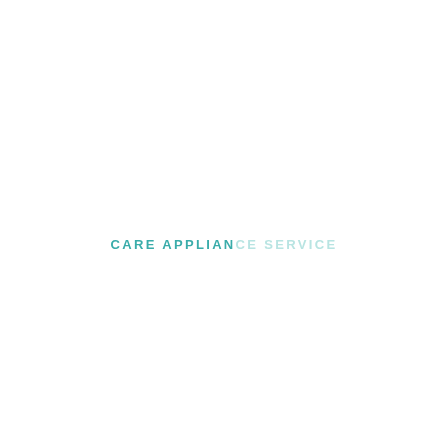[Figure (logo): Care Appliance Service logo — text-based logo with 'CARE APPLIAN' in teal/dark color and 'CE SERVICE' in light teal, uppercase spaced letters]